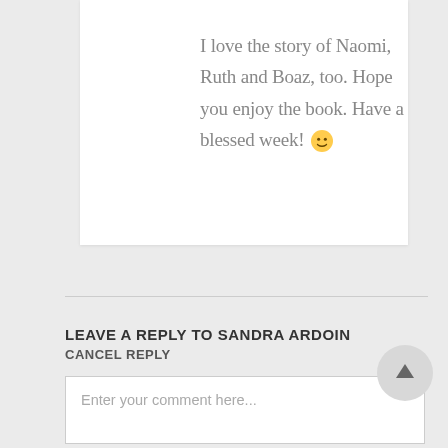I love the story of Naomi, Ruth and Boaz, too. Hope you enjoy the book. Have a blessed week! 🙂
LEAVE A REPLY TO SANDRA ARDOIN
CANCEL REPLY
Enter your comment here...